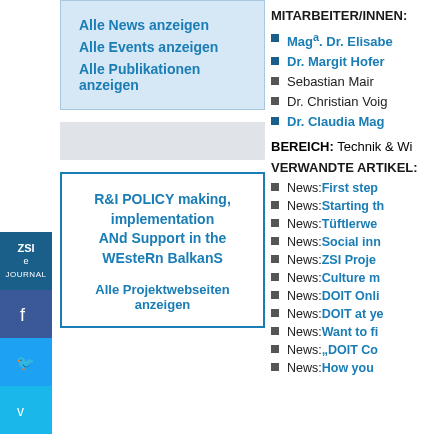Alle News anzeigen
Alle Events anzeigen
Alle Publikationen anzeigen
R&I POLICY making, implementation ANd Support in the WEsteRn BalkanS
Alle Projektwebseiten anzeigen
MITARBEITER/INNEN:
Magᵃ. Dr. Elisabe
Dr. Margit Hofer
Sebastian Mair
Dr. Christian Voig
Dr. Claudia Mag
BEREICH: Technik & Wi
VERWANDTE ARTIKEL:
News: First step
News: Starting th
News: Tüftlerwe
News: Social inn
News: ZSI Proje
News: Culture m
News: DOIT Onli
News: DOIT at ye
News: Want to fi
News: „DOIT Co
News: How you